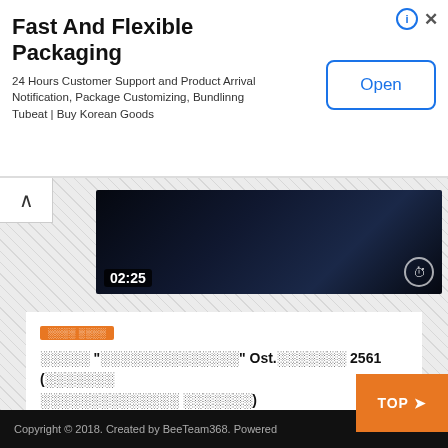[Figure (screenshot): Advertisement banner for Fast And Flexible Packaging service with Open button]
Fast And Flexible Packaging
24 Hours Customer Support and Product Arrival Notification, Package Customizing, Bundlinng Tubeat | Buy Korean Goods
[Figure (screenshot): Video thumbnail showing dark scene with timestamp 02:25 and clock icon]
[Figure (screenshot): Orange tag badge with Thai text]
Thai text title with Ost. and 2561
ADMIN  62.6M  107.3K
Copyright © 2018. Created by BeeTeam368. Powered